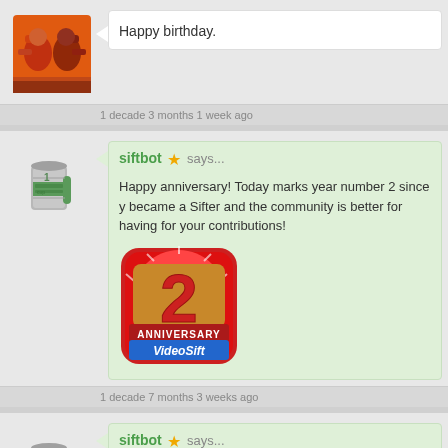[Figure (photo): Avatar image of a cartoon character (two fighters) for first entry]
Happy birthday.
1 decade 3 months 1 week ago
[Figure (photo): Avatar image of a tin can/cup for siftbot second entry]
siftbot ★ says...
Happy anniversary! Today marks year number 2 since y became a Sifter and the community is better for having for your contributions!
[Figure (illustration): 2 Anniversary VideoSift badge image]
1 decade 7 months 3 weeks ago
[Figure (photo): Avatar image of a tin can/cup for siftbot third entry]
siftbot ★ says...
Happy anniversary! Today marks year number 1 since y became a Sifter and the community is better for having for your contributions!